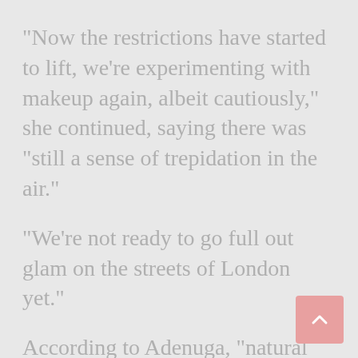“Now the restrictions have started to lift, we’re experimenting with makeup again, albeit cautiously,” she continued, saying there was “still a sense of trepidation in the air.”
“We’re not ready to go full out glam on the streets of London yet.”
According to Adenuga, “natural glamour” is the order of the day, with “an emphasis on eye makeup and a hint of color on the cheeks.” She recommended using lighter tinted moisturizers and concealers rather than heavy coverage foundations for the coming summer months. During a bout of early summer sunshine in London, for instance, people flocked to parks we… “soft shimmery golden highlighted cheeks complemented (by) pops of blush” in darker shades